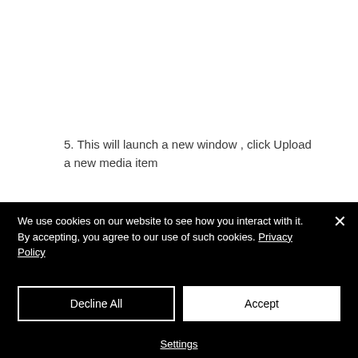5. This will launch a new window , click Upload a new media item
We use cookies on our website to see how you interact with it. By accepting, you agree to our use of such cookies. Privacy Policy
Decline All
Accept
Settings